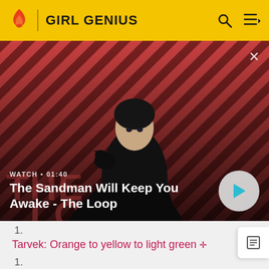GIRL GENIUS
[Figure (screenshot): Video thumbnail showing a dark-robed figure with a raven on shoulder against red diagonal stripe background. Shows 'WATCH · 01:40' and title 'The Sandman Will Keep You Awake - The Loop' with a play button.]
1.
Tarvek: Orange to yellow to light green ✛
1.
Tarvek: Teal with white and pink polka dots ✛
1.
Tarvek: Violet blue and...